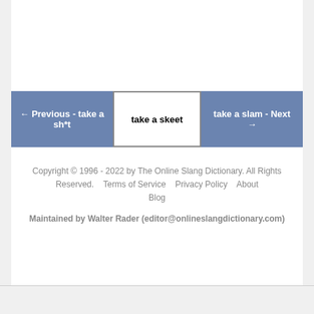← Previous - take a sh*t
take a skeet
take a slam - Next →
Copyright © 1996 - 2022 by The Online Slang Dictionary. All Rights Reserved.    Terms of Service    Privacy Policy    About    Blog
Maintained by Walter Rader (editor@onlineslangdictionary.com)